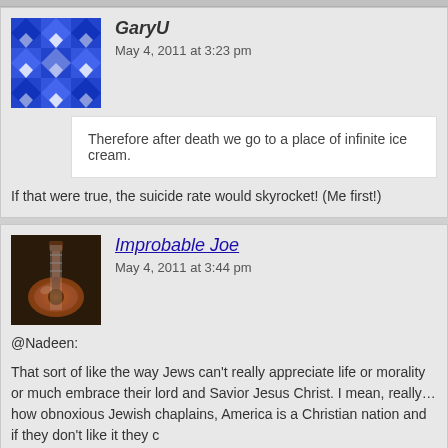GaryU
May 4, 2011 at 3:23 pm
Therefore after death we go to a place of infinite ice cream.
If that were true, the suicide rate would skyrocket! (Me first!)
Improbable Joe
May 4, 2011 at 3:44 pm
@Nadeen:
That sort of like the way Jews can't really appreciate life or morality or much embrace their lord and Savior Jesus Christ. I mean, really… how obnoxious Jewish chaplains, America is a Christian nation and if they don't like it they c
You'd think a rabbi would be a little more sensitive about throwing around eli much in this case.